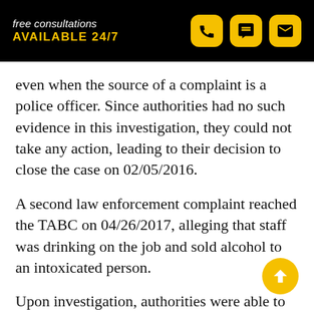free consultations AVAILABLE 24/7
even when the source of a complaint is a police officer. Since authorities had no such evidence in this investigation, they could not take any action, leading to their decision to close the case on 02/05/2016.
A second law enforcement complaint reached the TABC on 04/26/2017, alleging that staff was drinking on the job and sold alcohol to an intoxicated person.
Upon investigation, authorities were able to confirm both allegations, which they classified as administrative violations. Ultimately, the TABC decided not to hand down any punishment, choosing instead to close the case on 06/27/2017